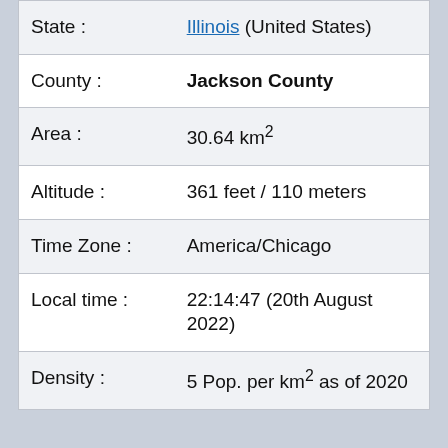| State : | Illinois (United States) |
| County : | Jackson County |
| Area : | 30.64 km² |
| Altitude : | 361 feet / 110 meters |
| Time Zone : | America/Chicago |
| Local time : | 22:14:47 (20th August 2022) |
| Density : | 5 Pop. per km² as of 2020 |